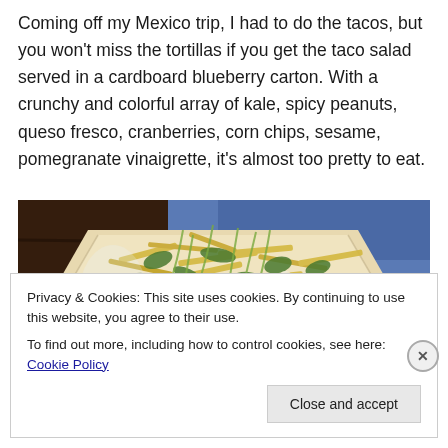Coming off my Mexico trip, I had to do the tacos, but you won't miss the tortillas if you get the taco salad served in a cardboard blueberry carton. With a crunchy and colorful array of kale, spicy peanuts, queso fresco, cranberries, corn chips, sesame, pomegranate vinaigrette, it's almost too pretty to eat.
[Figure (photo): A taco salad served in a cardboard blueberry carton, containing corn chips, kale, and other colorful ingredients, wrapped in parchment paper on a dark wooden surface.]
Privacy & Cookies: This site uses cookies. By continuing to use this website, you agree to their use.
To find out more, including how to control cookies, see here: Cookie Policy